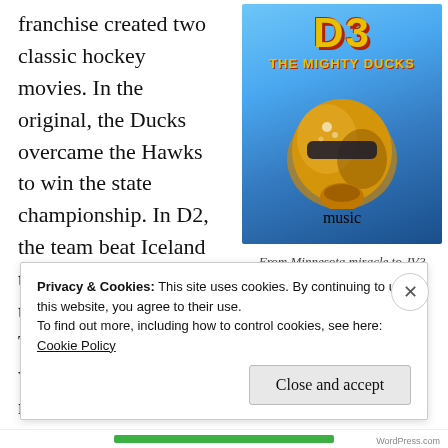franchise created two classic hockey movies. In the original, the Ducks overcame the Hawks to win the state championship. In D2, the team beat Iceland to be the best junior team in the world. Things were going so well after two hit movies, a cartoon series, and an
[Figure (photo): D3: The Mighty Ducks movie cover showing a golden duck mask/helmet against a blue background, with bold red and yellow title text 'D3 THE MIGHTY DUCKS']
From Minnesota miracle to JV?
Privacy & Cookies: This site uses cookies. By continuing to use this website, you agree to their use.
To find out more, including how to control cookies, see here: Cookie Policy
Close and accept